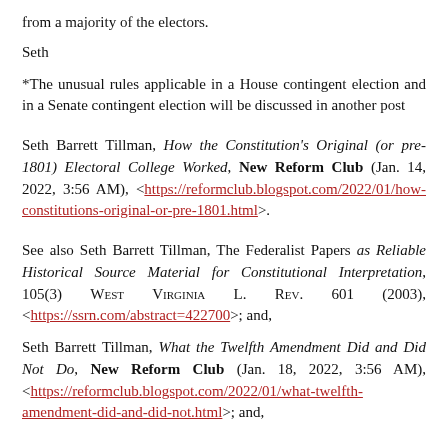from a majority of the electors.
Seth
*The unusual rules applicable in a House contingent election and in a Senate contingent election will be discussed in another post
Seth Barrett Tillman, How the Constitution's Original (or pre-1801) Electoral College Worked, New Reform Club (Jan. 14, 2022, 3:56 AM), <https://reformclub.blogspot.com/2022/01/how-constitutions-original-or-pre-1801.html>.
See also Seth Barrett Tillman, The Federalist Papers as Reliable Historical Source Material for Constitutional Interpretation, 105(3) West Virginia L. Rev. 601 (2003), <https://ssrn.com/abstract=422700>; and,
Seth Barrett Tillman, What the Twelfth Amendment Did and Did Not Do, New Reform Club (Jan. 18, 2022, 3:56 AM), <https://reformclub.blogspot.com/2022/01/what-twelfth-amendment-did-and-did-not.html>; and,